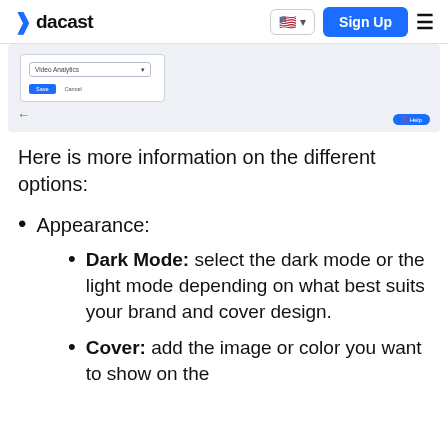dacast
[Figure (screenshot): Screenshot of a UI form with a dropdown showing 'Video Analytics', Save and Cancel buttons, and a help button in the bottom right]
Here is more information on the different options:
Appearance:
Dark Mode: select the dark mode or the light mode depending on what best suits your brand and cover design.
Cover: add the image or color you want to show on the